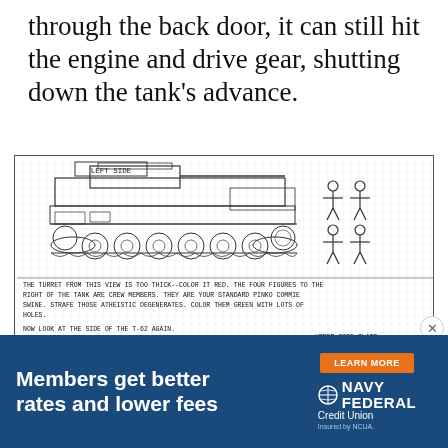through the back door, it can still hit the engine and drive gear, shutting down the tank's advance.
[Figure (engineering-diagram): Technical side-view diagram of a T-62 tank labeled 'LEFT SIDE' showing tank profile with turret, tracks, road wheels, and stick figures of crew members to the right. Below are captions in monospace type describing the turret thickness and crew figures. A second partial diagram shows the tank from a different angle with label 'UPPER SIDE PLATE'.]
[Figure (infographic): Navy Federal Credit Union advertisement banner with dark blue background. Text: 'Members get better rates and lower fees'. Orange 'LEARN MORE' button. Navy Federal Credit Union logo with 'Insured by NCUA.' text.]